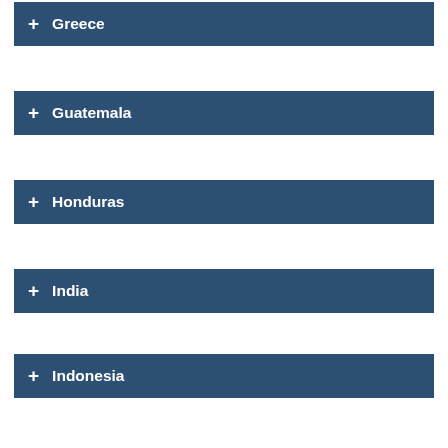+ Greece
+ Guatemala
+ Honduras
+ India
+ Indonesia
+ Italy
+ Japan
+ Korea
+ Malaysia